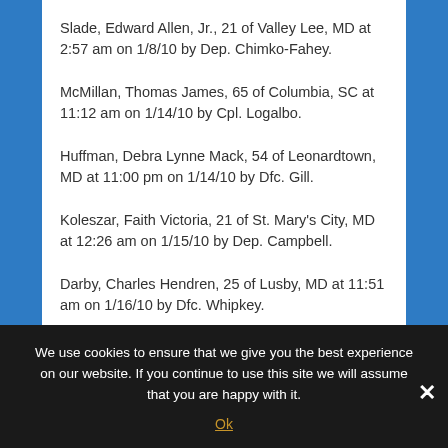Slade, Edward Allen, Jr., 21 of Valley Lee, MD at 2:57 am on 1/8/10 by Dep. Chimko-Fahey.
McMillan, Thomas James, 65 of Columbia, SC at 11:12 am on 1/14/10 by Cpl. Logalbo.
Huffman, Debra Lynne Mack, 54 of Leonardtown, MD at 11:00 pm on 1/14/10 by Dfc. Gill.
Koleszar, Faith Victoria, 21 of St. Mary's City, MD at 12:26 am on 1/15/10 by Dep. Campbell.
Darby, Charles Hendren, 25 of Lusby, MD at 11:51 am on 1/16/10 by Dfc. Whipkey.
We use cookies to ensure that we give you the best experience on our website. If you continue to use this site we will assume that you are happy with it.
Ok